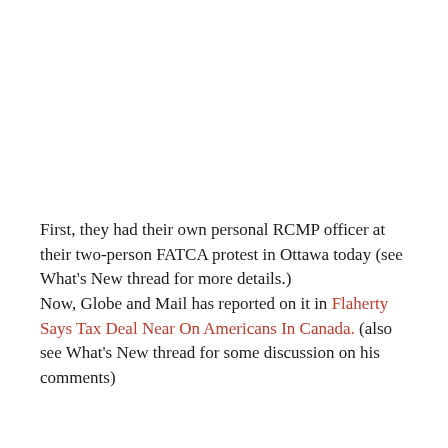First, they had their own personal RCMP officer at their two-person FATCA protest in Ottawa today (see What's New thread for more details.)
Now, Globe and Mail has reported on it in Flaherty Says Tax Deal Near On Americans In Canada. (also see What's New thread for some discussion on his comments)